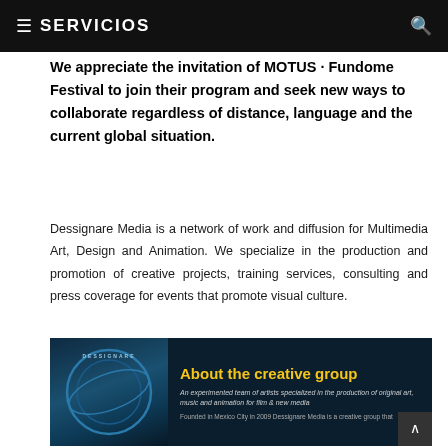SERVICIOS
We appreciate the invitation of MOTUS · Fundome Festival to join their program and seek new ways to collaborate regardless of distance, language and the current global situation.
Dessignare Media is a network of work and diffusion for Multimedia Art, Design and Animation. We specialize in the production and promotion of creative projects, training services, consulting and press coverage for events that promote visual culture.
[Figure (infographic): Dessignare Media promotional infographic with logo circle on dark blue background. Right side has yellow title 'About the creative group', italic subtitle 'An experimented team of artists specialized in the production of original art, music and animation for film & new media', and body text 'Founded in Mexico City in 2009 Dessignare Media is a creative group that...']